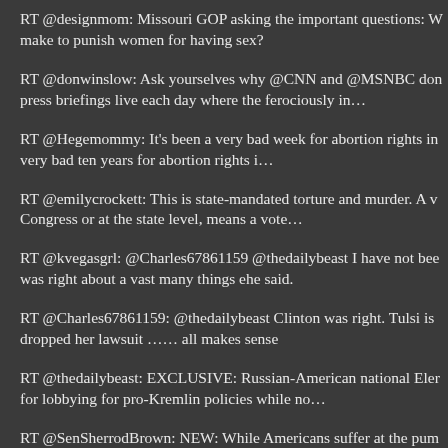RT @designmom: Missouri GOP asking the important questions: W make to punish women for having sex?
RT @donwinslow: Ask yourselves why @CNN and @MSNBC don press briefings live each day where the ferociously in…
RT @Hegemommy: It's been a very bad week for abortion rights in very bad ten years for abortion rights i…
RT @emilycrockett: This is state-mandated torture and murder. A v Congress or at the state level, means a vote…
RT @kvegasgrl: @Charles67861159 @thedailybeast I have not bee was right about a vast many things ehe said.
RT @Charles67861159: @thedailybeast Clinton was right. Tulsi is dropped her lawsuit …… all makes sense
RT @thedailybeast: EXCLUSIVE: Russian-American national Eler for lobbying for pro-Kremlin policies while no…
RT @SenSherrodBrown: NEW: While Americans suffer at the pum in near-record profits.   I'm introducing a bill…
RT @ahandvanish: But there is no public awareness that just having risk for your future, even from a "mild…
RT @ahandvanish: There's a big reality gap right now between peo top of COVID research & those who just trus…
RT @Jezebel: @stclair_dj Black bookstore owners are fighting bac